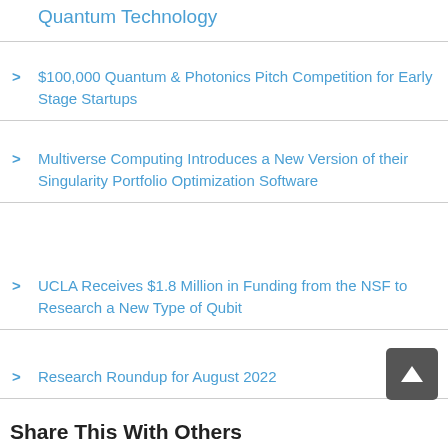Quantum Technology
$100,000 Quantum & Photonics Pitch Competition for Early Stage Startups
Multiverse Computing Introduces a New Version of their Singularity Portfolio Optimization Software
UCLA Receives $1.8 Million in Funding from the NSF to Research a New Type of Qubit
Research Roundup for August 2022
Share This With Others